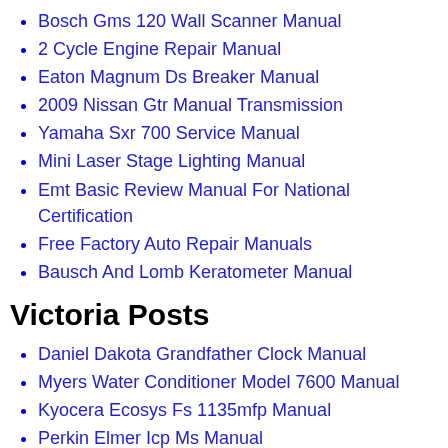Bosch Gms 120 Wall Scanner Manual
2 Cycle Engine Repair Manual
Eaton Magnum Ds Breaker Manual
2009 Nissan Gtr Manual Transmission
Yamaha Sxr 700 Service Manual
Mini Laser Stage Lighting Manual
Emt Basic Review Manual For National Certification
Free Factory Auto Repair Manuals
Bausch And Lomb Keratometer Manual
Victoria Posts
Daniel Dakota Grandfather Clock Manual
Myers Water Conditioner Model 7600 Manual
Kyocera Ecosys Fs 1135mfp Manual
Perkin Elmer Icp Ms Manual
Yaesu Phones 8600 Manual Pdf...